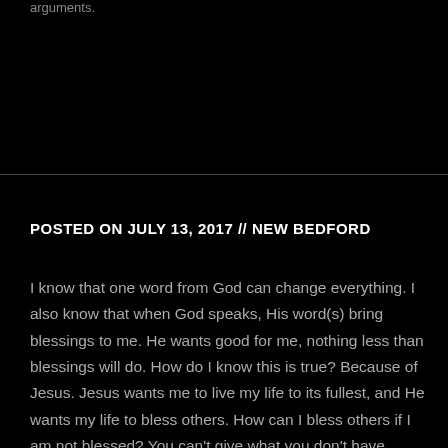arguments.
POSTED ON JULY 13, 2017 // NEW BEDFORD
I know that one word from God can change everything. I also know that when God speaks, His word(s) bring blessings to me. He wants good for me, nothing less than blessings will do. How do I know this is true? Because of Jesus. Jesus wants me to live my life to its fullest, and He wants my life to bless others. How can I bless others if I am not blessed? You can't give what you don't have, right?